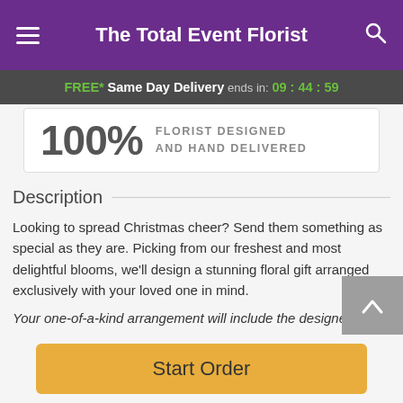The Total Event Florist
FREE* Same Day Delivery ends in: 09:44:59
100% FLORIST DESIGNED AND HAND DELIVERED
Description
Looking to spread Christmas cheer? Send them something as special as they are. Picking from our freshest and most delightful blooms, we'll design a stunning floral gift arranged exclusively with your loved one in mind.
Your one-of-a-kind arrangement will include the designer's
Start Order